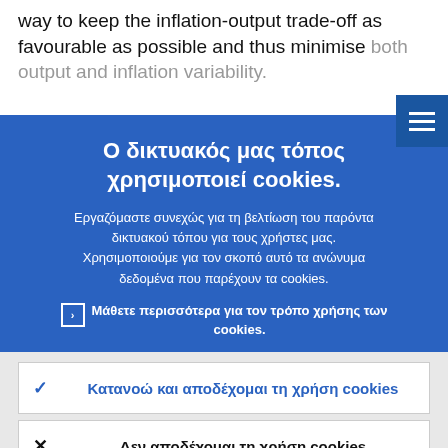way to keep the inflation-output trade-off as favourable as possible and thus minimise both output and inflation variability.
[Figure (screenshot): Hamburger menu button (three horizontal lines) in blue square, top right corner]
Ο δικτυακός μας τόπος χρησιμοποιεί cookies.
Εργαζόμαστε συνεχώς για τη βελτίωση του παρόντα δικτυακού τόπου για τους χρήστες μας. Χρησιμοποιούμε για τον σκοπό αυτό τα ανώνυμα δεδομένα που παρέχουν τα cookies.
› Μάθετε περισσότερα για τον τρόπο χρήσης των cookies.
✓ Κατανοώ και αποδέχομαι τη χρήση cookies
✕ Δεν αποδέχομαι τη χρήση cookies